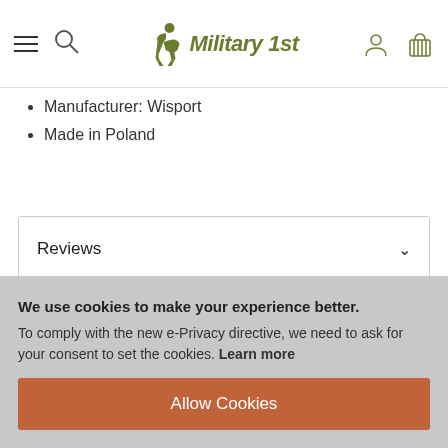Military 1st
Manufacturer: Wisport
Made in Poland
Reviews
Delivery & Returns
We use cookies to make your experience better. To comply with the new e-Privacy directive, we need to ask for your consent to set the cookies. Learn more
Allow Cookies